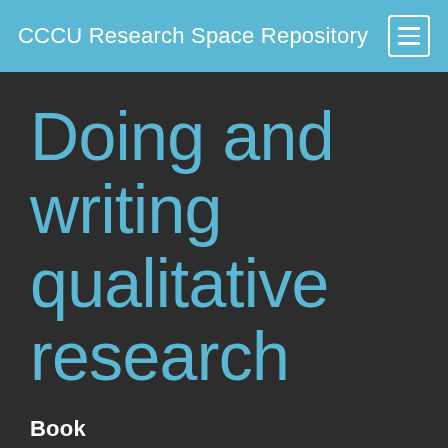CCCU Research Space Repository
Doing and writing qualitative research
Book